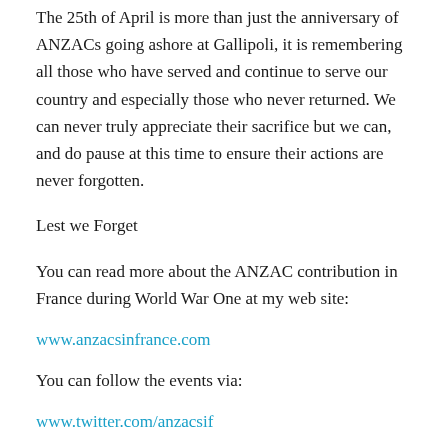The 25th of April is more than just the anniversary of ANZACs going ashore at Gallipoli, it is remembering all those who have served and continue to serve our country and especially those who never returned. We can never truly appreciate their sacrifice but we can, and do pause at this time to ensure their actions are never forgotten.
Lest we Forget
You can read more about the ANZAC contribution in France during World War One at my web site:
www.anzacsinfrance.com
You can follow the events via:
www.twitter.com/anzacsif